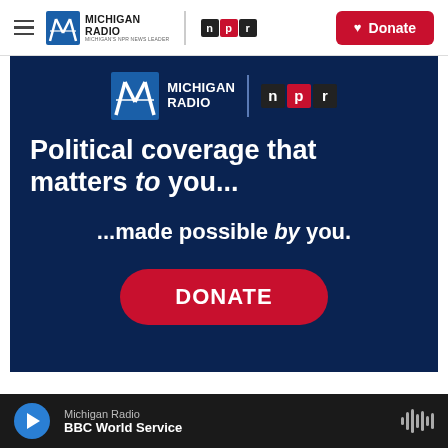Michigan Radio | NPR | Donate
[Figure (infographic): Michigan Radio NPR promotional banner ad on dark navy background. Features Michigan Radio and NPR logos at top, headline 'Political coverage that matters to you...', subheading '...made possible by you.', and a red rounded DONATE button.]
Michigan Radio
BBC World Service